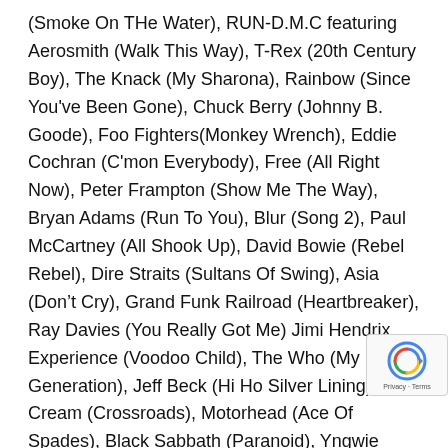(Smoke On THe Water), RUN-D.M.C featuring Aerosmith (Walk This Way), T-Rex (20th Century Boy), The Knack (My Sharona), Rainbow (Since You've Been Gone), Chuck Berry (Johnny B. Goode), Foo Fighters(Monkey Wrench), Eddie Cochran (C'mon Everybody), Free (All Right Now), Peter Frampton (Show Me The Way), Bryan Adams (Run To You), Blur (Song 2), Paul McCartney (All Shook Up), David Bowie (Rebel Rebel), Dire Straits (Sultans Of Swing), Asia (Don't Cry), Grand Funk Railroad (Heartbreaker), Ray Davies (You Really Got Me) Jimi Hendrix Experience (Voodoo Child), The Who (My Generation), Jeff Beck (Hi Ho Silver Lining), Cream (Crossroads), Motorhead (Ace Of Spades), Black Sabbath (Paranoid), Yngwie Malmsteen, (Far Beyond The S The Michael Schenker Group (Armed And Ready), Moo (Still Got The Blues)r, Iron Maiden (Run To The Hills)
[Figure (other): reCAPTCHA badge with circular arrow icon and 'Privacy - Terms' text]